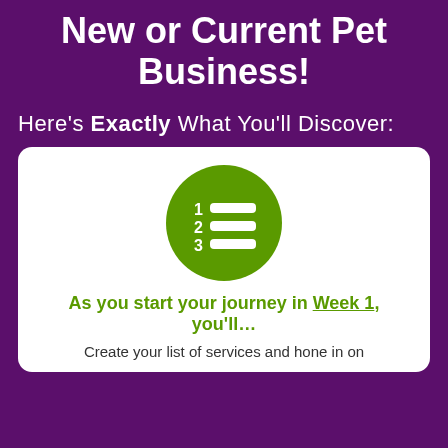New or Current Pet Business!
Here's Exactly What You'll Discover:
[Figure (illustration): Green circle icon with numbered list lines (1, 2, 3) in white, resembling a checklist or ordered list symbol]
As you start your journey in Week 1, you'll…
Create your list of services and hone in on